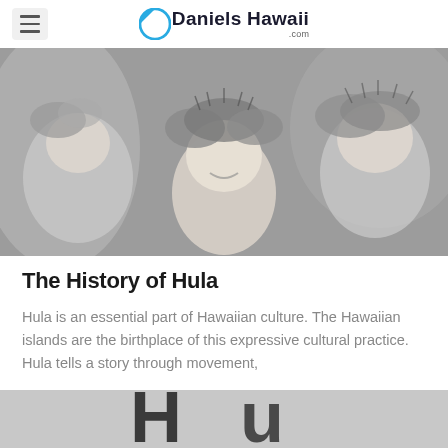Daniels Hawaii .com
[Figure (photo): Black and white photo of children smiling, wearing flower lei crowns on their heads, likely at a hula performance or cultural event in Hawaii.]
The History of Hula
Hula is an essential part of Hawaiian culture. The Hawaiian islands are the birthplace of this expressive cultural practice. Hula tells a story through movement,
[Figure (photo): Black and white partial photo at bottom of page, partially cropped, showing text or signage.]